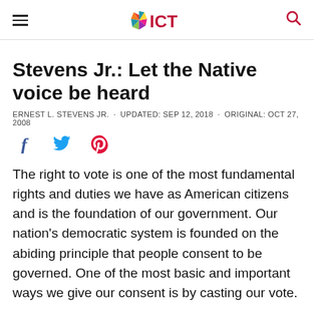ICT
Stevens Jr.: Let the Native voice be heard
ERNEST L. STEVENS JR. · UPDATED: SEP 12, 2018 · ORIGINAL: OCT 27, 2008
[Figure (other): Social media share icons: Facebook, Twitter, Pinterest]
The right to vote is one of the most fundamental rights and duties we have as American citizens and is the foundation of our government. Our nation's democratic system is founded on the abiding principle that people consent to be governed. One of the most basic and important ways we give our consent is by casting our vote.